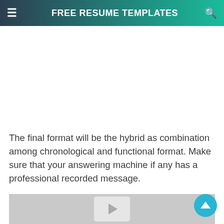FREE RESUME TEMPLATES
The final format will be the hybrid as combination among chronological and functional format. Make sure that your answering machine if any has a professional recorded message.
[Figure (screenshot): Gray video/image placeholder thumbnail with play button icon]